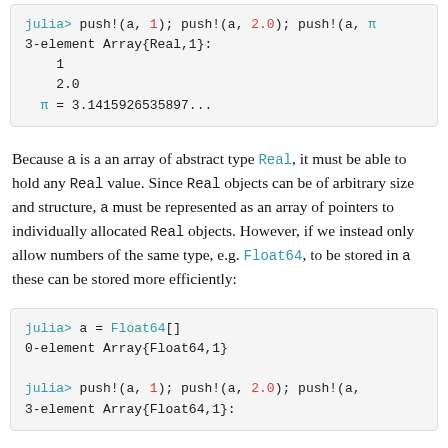julia> push!(a, 1); push!(a, 2.0); push!(a, π
3-element Array{Real,1}:
  1
  2.0
 π = 3.1415926535897...
Because a is a an array of abstract type Real, it must be able to hold any Real value. Since Real objects can be of arbitrary size and structure, a must be represented as an array of pointers to individually allocated Real objects. However, if we instead only allow numbers of the same type, e.g. Float64, to be stored in a these can be stored more efficiently:
julia> a = Float64[]
0-element Array{Float64,1}

julia> push!(a, 1); push!(a, 2.0); push!(a,
3-element Array{Float64,1}: